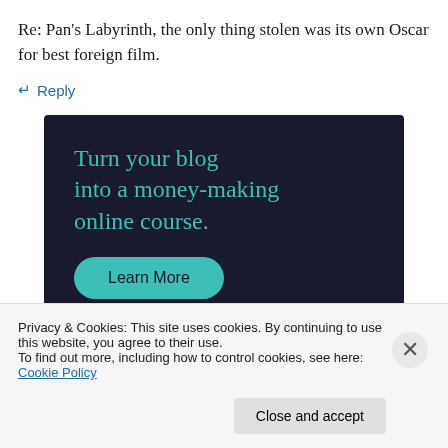Re: Pan’s Labyrinth, the only thing stolen was its own Oscar for best foreign film.
↴ Reply
[Figure (infographic): Dark navy advertisement banner with teal text reading 'Turn your blog into a money-making online course.' and a teal 'Learn More' button]
Privacy & Cookies: This site uses cookies. By continuing to use this website, you agree to their use.
To find out more, including how to control cookies, see here: Cookie Policy
Close and accept